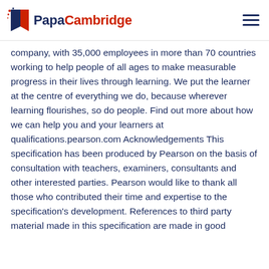PapaCambridge
company, with 35,000 employees in more than 70 countries working to help people of all ages to make measurable progress in their lives through learning. We put the learner at the centre of everything we do, because wherever learning flourishes, so do people. Find out more about how we can help you and your learners at qualifications.pearson.com Acknowledgements This specification has been produced by Pearson on the basis of consultation with teachers, examiners, consultants and other interested parties. Pearson would like to thank all those who contributed their time and expertise to the specification's development. References to third party material made in this specification are made in good